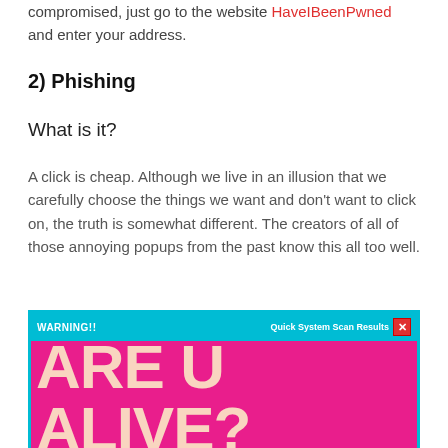compromised, just go to the website HaveIBeenPwned and enter your address.
2) Phishing
What is it?
A click is cheap. Although we live in an illusion that we carefully choose the things we want and don't want to click on, the truth is somewhat different. The creators of all of those annoying popups from the past know this all too well.
[Figure (screenshot): Screenshot of a fake popup/scam window with a cyan title bar reading 'WARNING!!' and 'Quick System Scan Results' with a red X close button, and a bright pink/magenta body with large text reading 'ARE U ALIVE?']